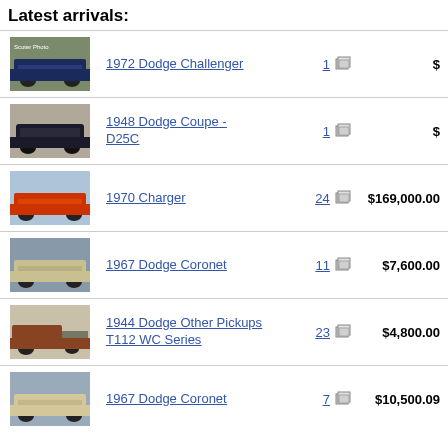Latest arrivals:
1972 Dodge Challenger | 1 | $
1948 Dodge Coupe - D25C | 1 | $
1970 Charger | 24 | $169,000.00
1967 Dodge Coronet | 11 | $7,600.00
1944 Dodge Other Pickups T112 WC Series | 23 | $4,800.00
1967 Dodge Coronet | 7 | $10,500.09